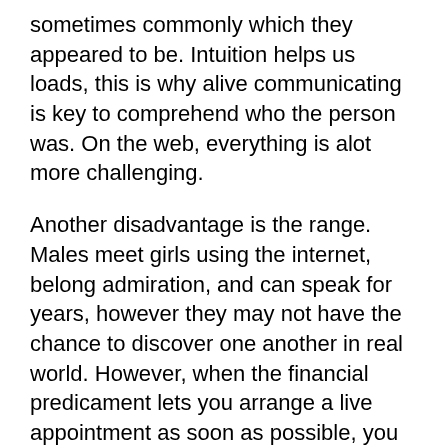sometimes commonly which they appeared to be. Intuition helps us loads, this is why alive communicating is key to comprehend who the person was. On the web, everything is alot more challenging.
Another disadvantage is the range. Males meet girls using the internet, belong admiration, and can speak for years, however they may not have the chance to discover one another in real world. However, when the financial predicament lets you arrange a live appointment as soon as possible, you ought to try this. But what if the wage try barely adequate your return tickets?
The following debatable disadvantage of correspondence through the global community is mers fraud female singles and break their hearts. Indeed, the one that sits on the other side for the display screen can be extremely